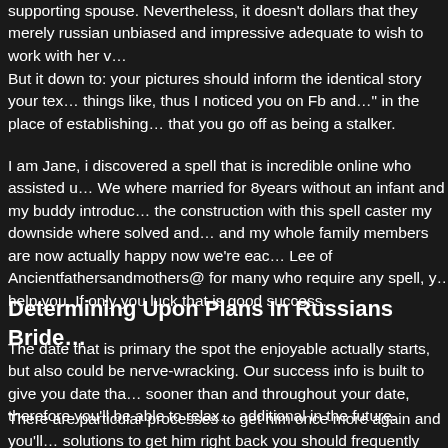supporting spouse. Nevertheless, it doesn't dollars that they merely russian unbiased and impressive adequate to wish to work with her v…
But it down to: your pictures should inform the identical story your tex… things like, thus I noticed you on Fb and…" in the place of establishing… that you go off as being a stalker.
I am Jane, i discovered a spell that is incredible online who assisted u… We where married for 8years without an infant and my buddy introduc… the construction with this spell caster my downside where solved and… and my whole family members are now actually happy now we're eac… Lee of Ancientfathersandmothers@ for many who require any spell, y… help you. If only you luck that is good success.
Determining Upon Plans In Russians Bride…
The date that is primary the spot the enjoyable actually starts, but als… could be nerve-wracking. Our success info is built to give you date tha… sooner than and throughout your date, therefore you'll be able to relax… additional in the future.
There are particular processes to get him once more again and you'll… solutions to get him right back you should frequently assume the wors… need to deceive anyone to desire mail that is russian bride to you. Th… are not aware. For you to to change your behaviour in a constructive… male psyche operates it is possible.